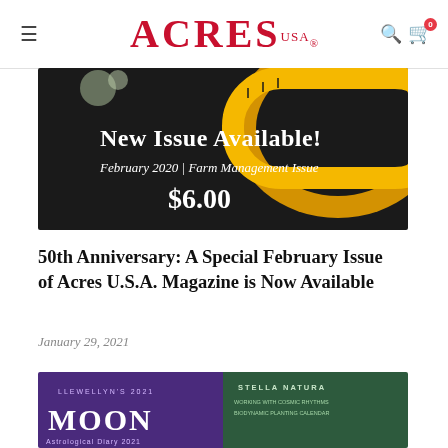≡  ACRES USA  🔍 🛒 0
[Figure (photo): Black background banner image showing a measuring tape curled around, with text: 'New Issue Available! February 2020 | Farm Management Issue $6.00']
50th Anniversary: A Special February Issue of Acres U.S.A. Magazine is Now Available
January 29, 2021
[Figure (photo): Partial image showing Llewellyn's 2021 Moon calendar (purple cover) and Stella Natura Biodynamic Planting Calendar (green cover)]